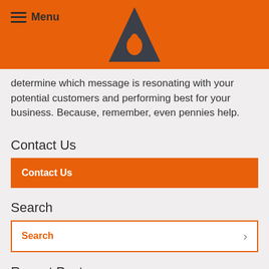Menu
determine which message is resonating with your potential customers and performing best for your business. Because, remember, even pennies help.
Contact Us
Contact Us
Search
Search
Recent Posts
Guide to Heat Map Testing: 7 Beginner Tips to Get Started
Tips on Facebook Ads for Business...